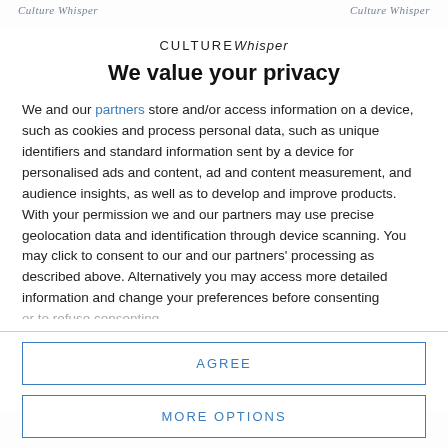Culture Whisper    Culture Whisper
[Figure (logo): Culture Whisper logo — uppercase CULTURE followed by italic Whisper]
We value your privacy
We and our partners store and/or access information on a device, such as cookies and process personal data, such as unique identifiers and standard information sent by a device for personalised ads and content, ad and content measurement, and audience insights, as well as to develop and improve products. With your permission we and our partners may use precise geolocation data and identification through device scanning. You may click to consent to our and our partners' processing as described above. Alternatively you may access more detailed information and change your preferences before consenting or to refuse consenting.
AGREE
MORE OPTIONS